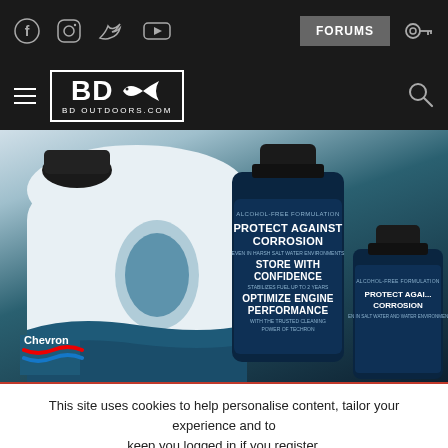BD Outdoors - BDOutdoors.com - Forum with social icons (Facebook, Instagram, Twitter, YouTube), FORUMS button, login icon
[Figure (photo): Product photo of Chevron marine fuel additive bottles: a large white/blue gallon jug on the left, a dark blue bottle labeled PROTECT AGAINST CORROSION / STORE WITH CONFIDENCE / OPTIMIZE ENGINE PERFORMANCE in center, and a small dark bottle on the right with PROTECT AGAINST CORROSION label]
This site uses cookies to help personalise content, tailor your experience and to keep you logged in if you register.
By continuing to use this site, you are consenting to our use of cookies.
✓ ACCEPT   LEARN MORE...